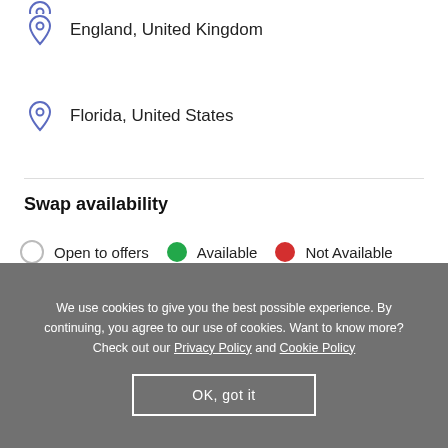England, United Kingdom
Florida, United States
Swap availability
Open to offers   Available   Not Available
We use cookies to give you the best possible experience. By continuing, you agree to our use of cookies. Want to know more? Check out our Privacy Policy and Cookie Policy
OK, got it